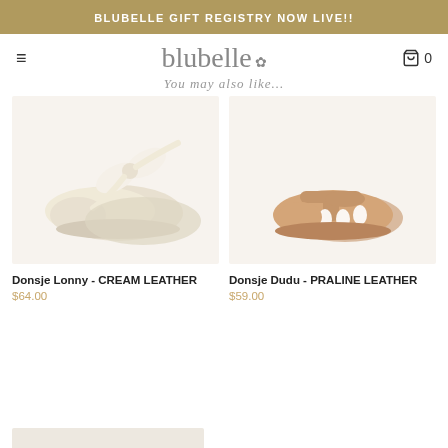BLUBELLE GIFT REGISTRY NOW LIVE!!
[Figure (logo): Blubelle logo with stylized text and small flower/dandelion icon]
You may also like...
[Figure (photo): Donsje Lonny baby shoes in cream leather with large bow tie, photographed on white background]
Donsje Lonny - CREAM LEATHER
$64.00
[Figure (photo): Donsje Dudu baby sandals in praline leather with T-bar strap and cutout details, photographed on white background]
Donsje Dudu - PRALINE LEATHER
$59.00